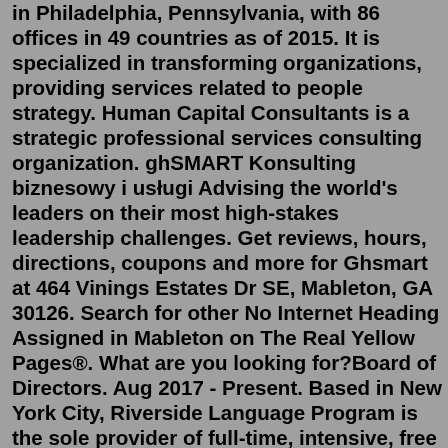in Philadelphia, Pennsylvania, with 86 offices in 49 countries as of 2015. It is specialized in transforming organizations, providing services related to people strategy. Human Capital Consultants is a strategic professional services consulting organization. ghSMART Konsulting biznesowy i usługi Advising the world's leaders on their most high-stakes leadership challenges. Get reviews, hours, directions, coupons and more for Ghsmart at 464 Vinings Estates Dr SE, Mableton, GA 30126. Search for other No Internet Heading Assigned in Mableton on The Real Yellow Pages®. What are you looking for?Board of Directors. Aug 2017 - Present. Based in New York City, Riverside Language Program is the sole provider of full-time, intensive, free English language classes to documented immigrants ...Great Place to Work-Certified™ Companies We are proud to recognize these companies as employee-validated great workplaces! Children's Hospital of Philadelphia. Robert Galeano. Head of Investor